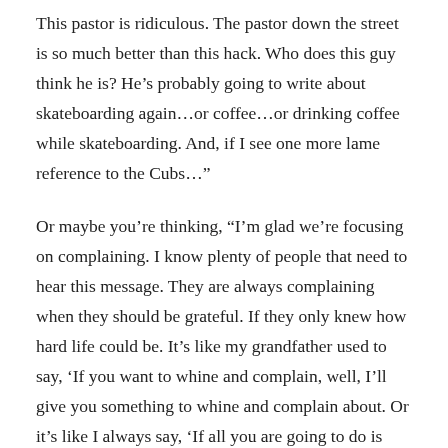This pastor is ridiculous. The pastor down the street is so much better than this hack. Who does this guy think he is? He’s probably going to write about skateboarding again…or coffee…or drinking coffee while skateboarding. And, if I see one more lame reference to the Cubs…”
Or maybe you’re thinking, “I’m glad we’re focusing on complaining. I know plenty of people that need to hear this message. They are always complaining when they should be grateful. If they only knew how hard life could be. It’s like my grandfather used to say, ‘If you want to whine and complain, well, I’ll give you something to whine and complain about. Or it’s like I always say, ‘If all you are going to do is complain about the way I fold your shirts, you can do it yourself.’”